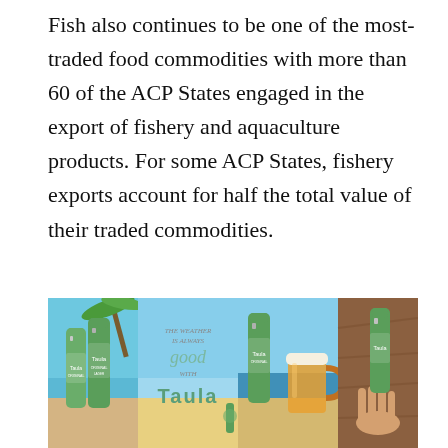Fish also continues to be one of the most-traded food commodities with more than 60 of the ACP States engaged in the export of fishery and aquaculture products. For some ACP States, fishery exports account for half the total value of their traded commodities.
[Figure (photo): A collage of four images featuring Taula beer bottles and branding. Left panel: two green Taula Original Lager bottles against a tropical beach background with palm tree. Center-left panel: Taula branding text reading 'The weather is always good with Taula' with a beach scene. Center-right panel: A Taula Original beer bottle next to a full glass mug of beer on a beach. Right panel: A hand holding a Taula beer bottle against a wooden background.]
About the ACP
The African, Caribbean and Pacific Group of States (ACP) is an organization created by the